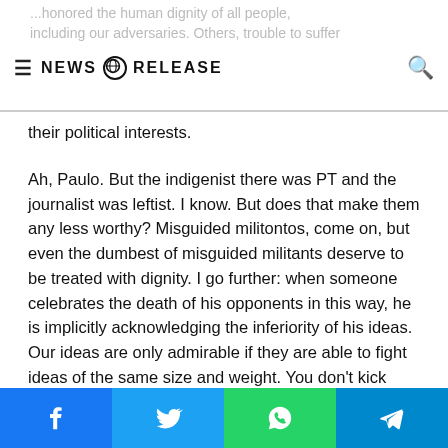NEWS RELEASE
their political interests.
Ah, Paulo. But the indigenist there was PT and the journalist was leftist. I know. But does that make them any less worthy? Misguided militontos, come on, but even the dumbest of misguided militants deserve to be treated with dignity. I go further: when someone celebrates the death of his opponents in this way, he is implicitly acknowledging the inferiority of his ideas. Our ideas are only admirable if they are able to fight ideas of the same size and weight. You don't kick drunk downhill.
As far as I could see, the work of Bruno Pereira and Dom Phillips was really based on premises that I think are beyond